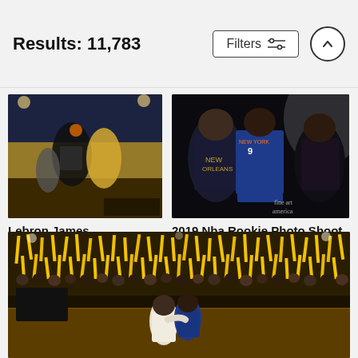Results: 11,783
[Figure (screenshot): Filters button with sliders icon and up-arrow circle button in header]
[Figure (photo): LeBron James basketball action photo - Cavaliers vs Warriors game]
Lebron James
Jesse D. Garrabrant
$9.62
[Figure (photo): 2019 NBA Rookie Photo Shoot - three players posing including player wearing New York Knicks #9 jersey]
2019 Nba Rookie Photo Shoot
Brian Babineau
$9.62
[Figure (photo): Golden State Warriors celebration photo with crowd holding yellow thunderstix, two players embracing on court]